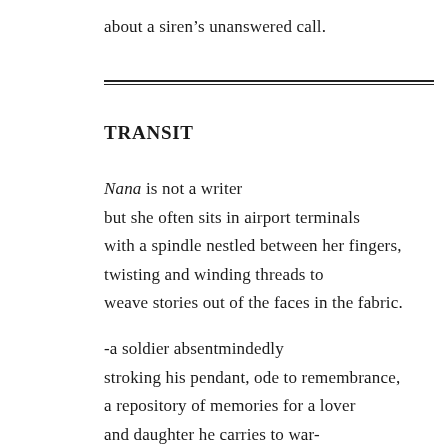about a siren's unanswered call.
TRANSIT
Nana is not a writer
but she often sits in airport terminals
with a spindle nestled between her fingers,
twisting and winding threads to
weave stories out of the faces in the fabric.
-a soldier absentmindedly
stroking his pendant, ode to remembrance,
a repository of memories for a lover
and daughter he carries to war-